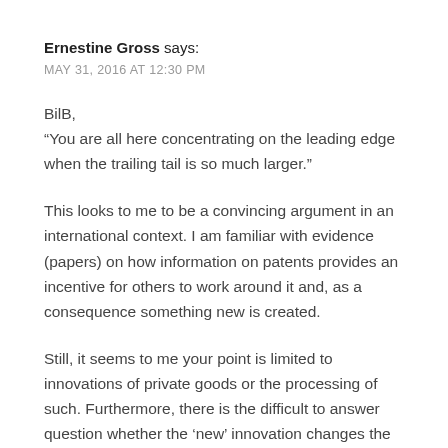Ernestine Gross says:
MAY 31, 2016 AT 12:30 PM
BilB,
“You are all here concentrating on the leading edge when the trailing tail is so much larger.”
This looks to me to be a convincing argument in an international context. I am familiar with evidence (papers) on how information on patents provides an incentive for others to work around it and, as a consequence something new is created.
Still, it seems to me your point is limited to innovations of private goods or the processing of such. Furthermore, there is the difficult to answer question whether the ‘new’ innovation changes the